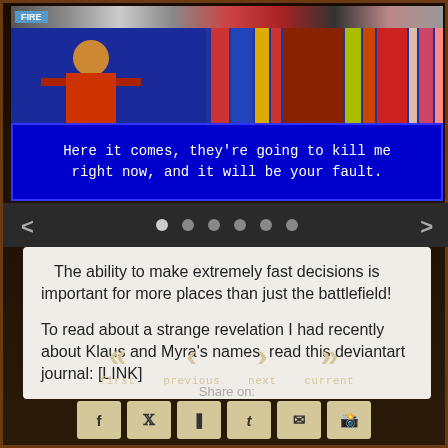[Figure (screenshot): Game screenshot showing a blue dialog box with pixel-art style text reading: Here it comes, they're going to kill me right now, and it will be your fault. Top bar shows character/scene elements with colorful graphics.]
The ability to make extremely fast decisions is important for more places than just the battlefield!

To read about a strange revelation I had recently about Klaus and Myra's names, read this deviantart journal: [LINK]
[Figure (infographic): Navigation controls: left arrow, 6 pagination dots, right arrow. Below: first (<<), previous (<), next (>), current (>>) navigation buttons. Share on: row with social media icons for Facebook, Twitter, Pinterest, Tumblr, Email, Reddit.]